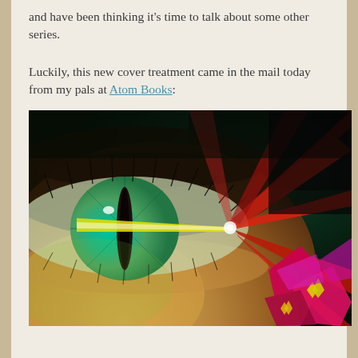and have been thinking it's time to talk about some other series.
Luckily, this new cover treatment came in the mail today from my pals at Atom Books:
[Figure (photo): A close-up photograph of a human eye with a slit pupil, surrounded by colorful light effects including red laser beams radiating from the right side and green/yellow light illuminating the face.]